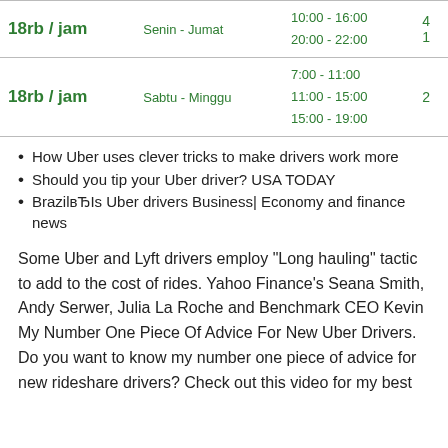| Rate | Day | Times | Count |
| --- | --- | --- | --- |
| 18rb / jam | Senin - Jumat | 10:00 - 16:00
20:00 - 22:00 | 4
1 |
| 18rb / jam | Sabtu - Minggu | 7:00 - 11:00
11:00 - 15:00
15:00 - 19:00 | 2 |
How Uber uses clever tricks to make drivers work more
Should you tip your Uber driver? USA TODAY
BrazilвЂIs Uber drivers Business| Economy and finance news
Some Uber and Lyft drivers employ "Long hauling" tactic to add to the cost of rides. Yahoo Finance's Seana Smith, Andy Serwer, Julia La Roche and Benchmark CEO Kevin My Number One Piece Of Advice For New Uber Drivers. Do you want to know my number one piece of advice for new rideshare drivers? Check out this video for my best